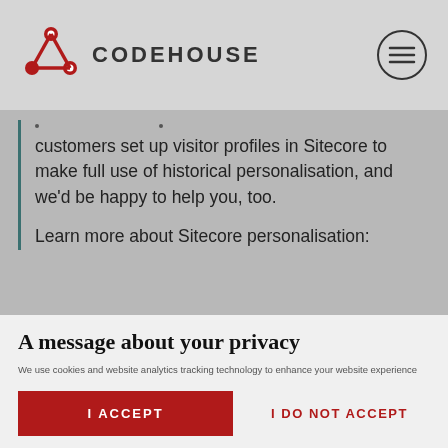[Figure (logo): Codehouse logo with red connected-nodes icon and text 'CODEHOUSE' in bold grey letters]
customers set up visitor profiles in Sitecore to make full use of historical personalisation, and we'd be happy to help you, too.
Learn more about Sitecore personalisation:
A message about your privacy
We use cookies and website analytics tracking technology to enhance your website experience and to analyse our website traffic. Click 'I Accept' below to consent to the use of this technology on our website, otherwise it will be disabled during your visit. For more information please visit our Privacy Policy
I ACCEPT
I DO NOT ACCEPT